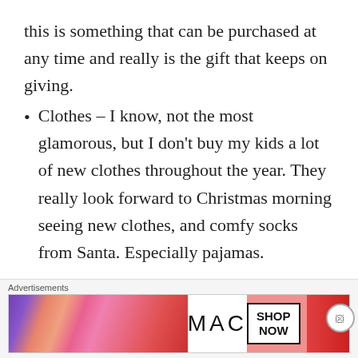this is something that can be purchased at any time and really is the gift that keeps on giving.
Clothes – I know, not the most glamorous, but I don't buy my kids a lot of new clothes throughout the year. They really look forward to Christmas morning seeing new clothes, and comfy socks from Santa. Especially pajamas.
Blankets, slippers or robes – anything cozy during the holiday season is a great last minute purchase.
Advertisements
[Figure (other): MAC Cosmetics advertisement banner showing lipsticks and SHOP NOW button]